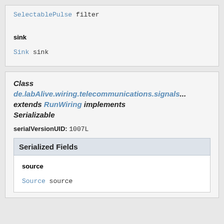SelectablePulse filter
sink
Sink sink
Class de.labAlive.wiring.telecommunications.signals... extends RunWiring implements Serializable
serialVersionUID: 1007L
Serialized Fields
source
Source source